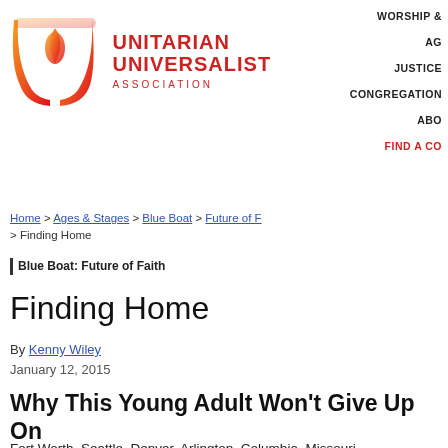[Figure (logo): Unitarian Universalist Association logo with flame chalice icon and red wordmark text]
WORSHIP &
AG
JUSTICE
CONGREGATION
ABO
FIND A CO
Home > Ages & Stages > Blue Boat > Future of F
> Finding Home
Blue Boat: Future of Faith
Finding Home
By Kenny Wiley
January 12, 2015
Why This Young Adult Won't Give Up On Religion
Fort Worth, Seattle, Denver, Arlington, Columbia, Missouri,